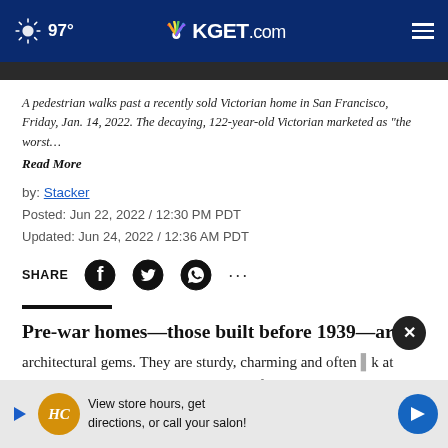97° KGET.com
A pedestrian walks past a recently sold Victorian home in San Francisco, Friday, Jan. 14, 2022. The decaying, 122-year-old Victorian marketed as "the worst… Read More
by: Stacker
Posted: Jun 22, 2022 / 12:30 PM PDT
Updated: Jun 24, 2022 / 12:36 AM PDT
SHARE
Pre-war homes—those built before 1939—are
architectural gems. They are sturdy, charming and often ... k at the prevalent colorless, linear designs of today and
[Figure (other): Advertisement banner with HC logo: View store hours, get directions, or call your salon!]